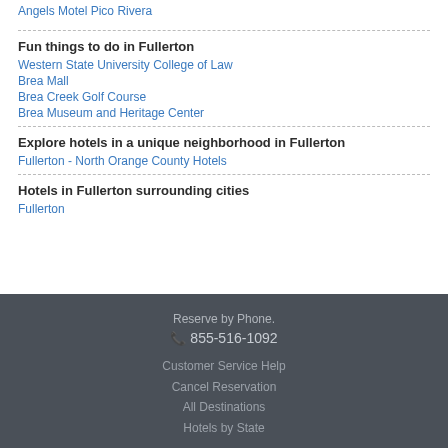Angels Motel Pico Rivera
Fun things to do in Fullerton
Western State University College of Law
Brea Mall
Brea Creek Golf Course
Brea Museum and Heritage Center
Explore hotels in a unique neighborhood in Fullerton
Fullerton - North Orange County Hotels
Hotels in Fullerton surrounding cities
Fullerton
Reserve by Phone.
📞 855-516-1092
Customer Service Help
Cancel Reservation
All Destinations
Hotels by State